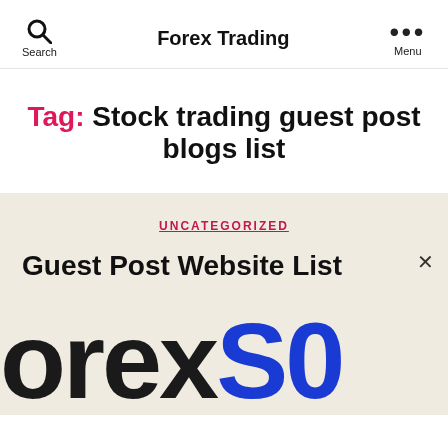Search  Forex Trading  Menu
Tag: Stock trading guest post blogs list
UNCATEGORIZED
Guest Post Website List
[Figure (logo): ForexS logo with 'Forex' in black and 'S' in dark blue, large display font cropped at bottom of page]